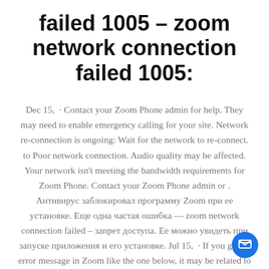failed 1005 – zoom network connection failed 1005:
Dec 15,  · Contact your Zoom Phone admin for help. They may need to enable emergency calling for your site. Network re-connection is ongoing: Wait for the network to re-connect. to Poor network connection. Audio quality may be affected. Your network isn't meeting the bandwidth requirements for Zoom Phone. Contact your Zoom Phone admin or . Антивирус заблокировал программу Zoom при ее установке. Еще одна частая ошибка — zoom network connection failed – запрет доступа. Ее можно увидеть при запуске приложения и его установке. Jul 15,  · If you get an error message in Zoom like the one below, it may be related to the network connection, network firewall settings, web security gateway settings. The application remains in